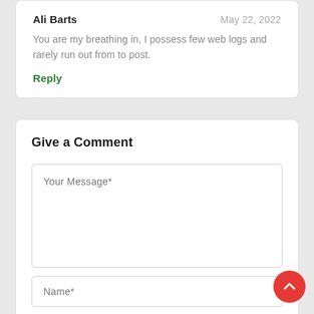Ali Barts
May 22, 2022
You are my breathing in, I possess few web logs and rarely run out from to post.
Reply
Give a Comment
Your Message*
Name*